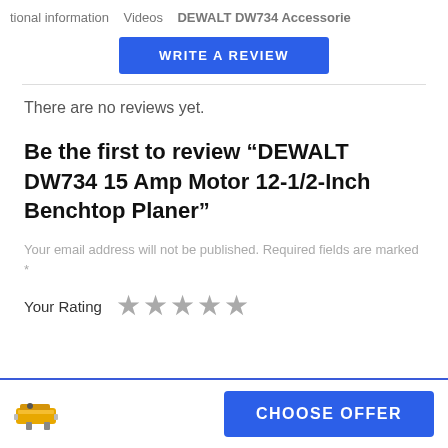tional information   Videos   DEWALT DW734 Accessorie
[Figure (other): WRITE A REVIEW button (blue)]
There are no reviews yet.
Be the first to review “DEWALT DW734 15 Amp Motor 12-1/2-Inch Benchtop Planer”
Your email address will not be published. Required fields are marked *
Your Rating ★★★★★
[Figure (other): Product icon of DEWALT planer tool, small thumbnail image]
[Figure (other): CHOOSE OFFER button (blue)]